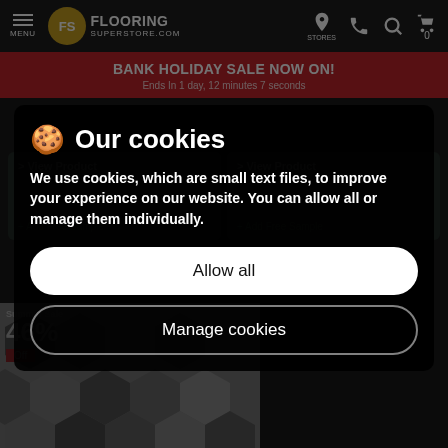MENU | FLOORING SUPERSTORE.COM | STORES | 0
BANK HOLIDAY SALE NOW ON!
Ends In 1 day, 12 minutes 7 seconds
🍪 Our cookies
We use cookies, which are small text files, to improve your experience on our website. You can allow all or manage them individually.
Allow all
Manage cookies